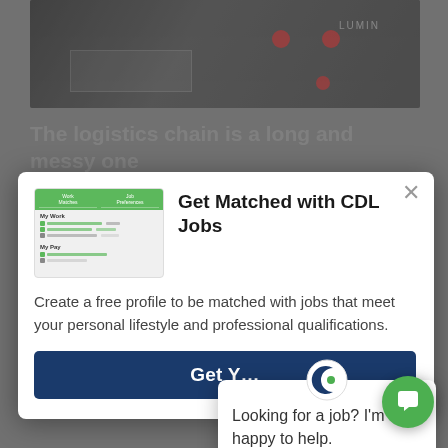[Figure (screenshot): Top portion showing a truck/logistics image in dark tones]
The logistics chain is a long and messy one
[Figure (screenshot): Modal popup: Get Matched with CDL Jobs. Shows a preview of a job-matching app interface on the left, with title 'Get Matched with CDL Jobs' on the right. Body text: Create a free profile to be matched with jobs that meet your personal lifestyle and professional qualifications. Button: Get Y[our Match]]
Create a free profile to be matched with jobs that meet your personal lifestyle and professional qualifications.
[Figure (screenshot): Chat popup with logo: Looking for a job? I'm happy to help.]
Looking for a job? I'm happy to help.
of time. If everything g[oes according to plan, you're off the] hook, you should be leaving your customer's facility with a new trailer in no time.
If you're a truck driver looking for a job with